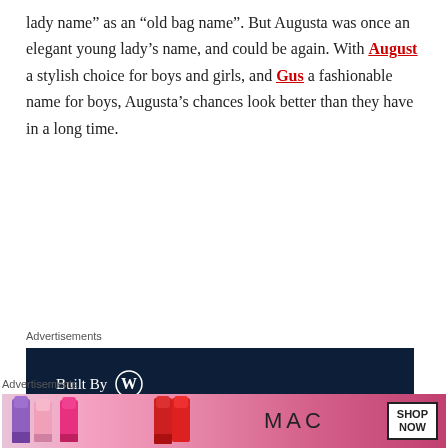lady name" as an "old bag name". But Augusta was once an elegant young lady's name, and could be again. With August a stylish choice for boys and girls, and Gus a fashionable name for boys, Augusta's chances look better than they have in a long time.
Advertisements
[Figure (illustration): WordPress 'Built By' advertisement with dark navy background, WordPress logo, tagline 'Your site. Built by us. Built for you.' and a 'Get a quote now' CTA button with website mockup imagery on the right.]
Advertisements
[Figure (illustration): MAC cosmetics advertisement showing colorful lipsticks, MAC logo and 'SHOP NOW' box.]